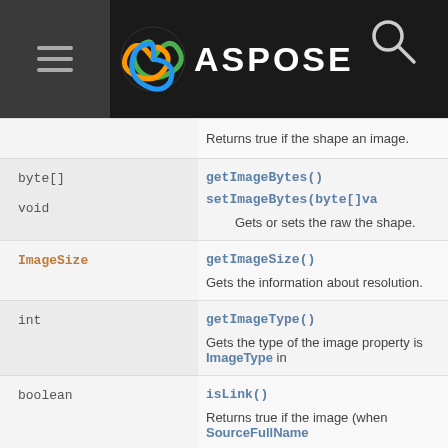ASPOSE
| Type | Method/Description |
| --- | --- |
|  | Returns true if the shape an image. |
| byte[] | getImageBytes()
Gets or sets the raw the shape. |
| void | setImageBytes(byte[]va
Gets or sets the raw the shape. |
| ImageSize | getImageSize()
Gets the information about resolution. |
| int | getImageType()
Gets the type of the image property is ImageType in |
| boolean | isLink()
Returns true if the image (when SourceFullName |